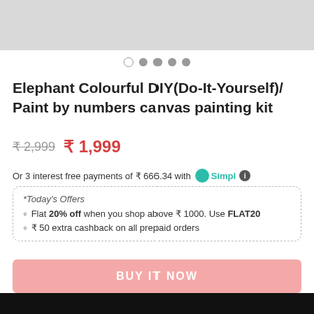[Figure (photo): Gray image placeholder at top of page representing a product image carousel]
Elephant Colourful DIY(Do-It-Yourself)/ Paint by numbers canvas painting kit
₹ 2,999  ₹ 1,999
Or 3 interest free payments of ₹ 666.34 with Simpl
*Today's Offers
• Flat 20% off when you shop above ₹ 1000. Use FLAT20
• ₹ 50 extra cashback on all prepaid orders
* Dispatches within 1-3 days
BUY IT NOW